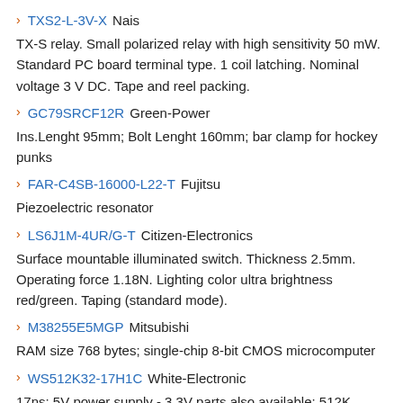TXS2-L-3V-X Nais
TX-S relay. Small polarized relay with high sensitivity 50 mW. Standard PC board terminal type. 1 coil latching. Nominal voltage 3 V DC. Tape and reel packing.
GC79SRCF12R Green-Power
Ins.Lenght 95mm; Bolt Lenght 160mm; bar clamp for hockey punks
FAR-C4SB-16000-L22-T Fujitsu
Piezoelectric resonator
LS6J1M-4UR/G-T Citizen-Electronics
Surface mountable illuminated switch. Thickness 2.5mm. Operating force 1.18N. Lighting color ultra brightness red/green. Taping (standard mode).
M38255E5MGP Mitsubishi
RAM size 768 bytes; single-chip 8-bit CMOS microcomputer
WS512K32-17H1C White-Electronic
17ns; 5V power supply - 3.3V parts also available; 512K